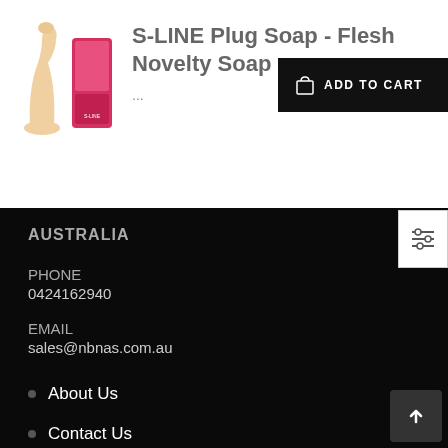S-LINE Plug Soap - Flesh Novelty Soap
...
ADD TO CART
AUSTRALIA
PHONE
0424162940
EMAIL
sales@nbnas.com.au
About Us
Contact Us
Openpay
Search
Discreet Delivery